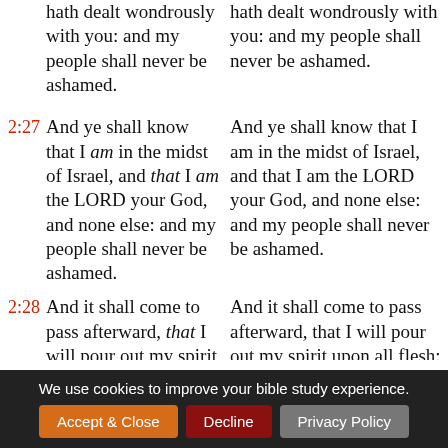hath dealt wondrously with you: and my people shall never be ashamed. (continuation top left)
hath dealt wondrously with you: and my people shall never be ashamed. (continuation top right)
2:27 And ye shall know that I am in the midst of Israel, and that I am the LORD your God, and none else: and my people shall never be ashamed.
And ye shall know that I am in the midst of Israel, and that I am the LORD your God, and none else: and my people shall never be ashamed.
2:28 And it shall come to pass afterward, that I will pour out my spirit upon all flesh;
And it shall come to pass afterward, that I will pour out my spirit upon all flesh;
We use cookies to improve your bible study experience. Accept & Close  Decline  Privacy Policy